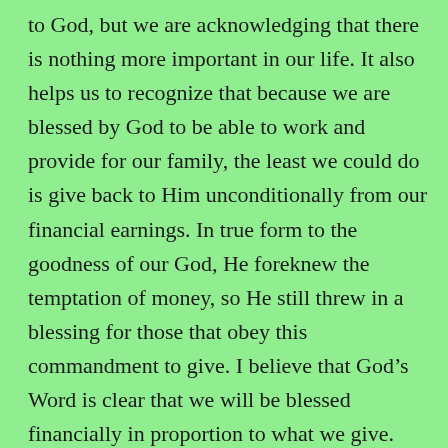to God, but we are acknowledging that there is nothing more important in our life. It also helps us to recognize that because we are blessed by God to be able to work and provide for our family, the least we could do is give back to Him unconditionally from our financial earnings. In true form to the goodness of our God, He foreknew the temptation of money, so He still threw in a blessing for those that obey this commandment to give. I believe that God's Word is clear that we will be blessed financially in proportion to what we give. Are you 'blessed' financially? Check your giving, perhaps it needs adjusting!